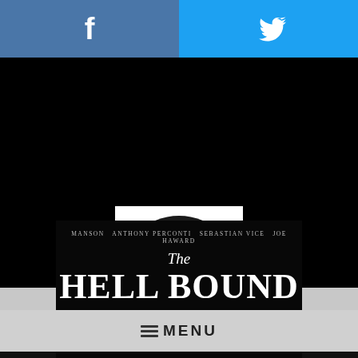[Figure (screenshot): Facebook social share button with white 'f' icon on steel blue background]
[Figure (screenshot): Twitter social share button with white bird icon on sky blue background]
[Figure (logo): Circular black and white skull/logo image for website]
≡ MENU
[Figure (photo): Book cover for 'The Hell Bound Kids' by Manson, Anthony Perconti, Sebastian Vice, Joe Haward — white text on dark background]